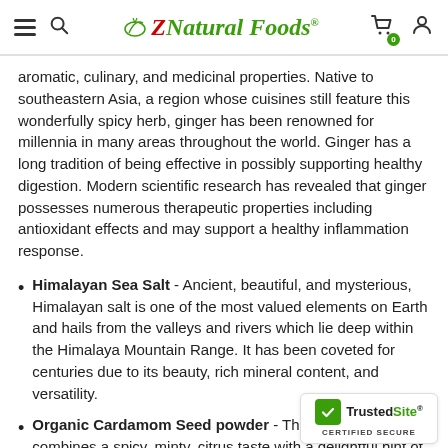Z Natural Foods
aromatic, culinary, and medicinal properties. Native to southeastern Asia, a region whose cuisines still feature this wonderfully spicy herb, ginger has been renowned for millennia in many areas throughout the world. Ginger has a long tradition of being effective in possibly supporting healthy digestion. Modern scientific research has revealed that ginger possesses numerous therapeutic properties including antioxidant effects and may support a healthy inflammation response.
Himalayan Sea Salt - Ancient, beautiful, and mysterious, Himalayan salt is one of the most valued elements on Earth and hails from the valleys and rivers which lie deep within the Himalaya Mountain Range. It has been coveted for centuries due to its beauty, rich mineral content, and versatility.
Organic Cardamom Seed powder - This wonderful herb combines a spicy, minty, citrus taste with a delightful hint of earth. Highly aromatic, t perfectly with cinnamon, ginger, and turn